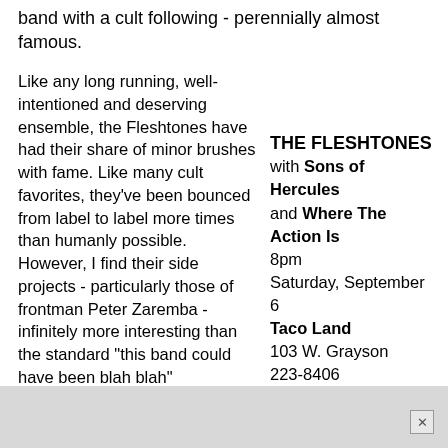band with a cult following - perennially almost famous.
Like any long running, well-intentioned and deserving ensemble, the Fleshtones have had their share of minor brushes with fame. Like many cult favorites, they've been bounced from label to label more times than humanly possible. However, I find their side projects - particularly those of frontman Peter Zaremba - infinitely more interesting than the standard "this band could have been blah blah" hypothetical banter.
THE FLESHTONES with Sons of Hercules and Where The Action Is
8pm
Saturday, September 6
Taco Land
103 W. Grayson
223-8406